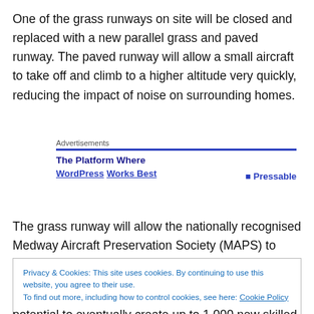One of the grass runways on site will be closed and replaced with a new parallel grass and paved runway. The paved runway will allow a small aircraft to take off and climb to a higher altitude very quickly, reducing the impact of noise on surrounding homes.
[Figure (screenshot): Advertisement block with blue bar, bold heading 'The Platform Where WordPress Works Best' and 'Pressable' branding]
The grass runway will allow the nationally recognised Medway Aircraft Preservation Society (MAPS) to continue
Privacy & Cookies: This site uses cookies. By continuing to use this website, you agree to their use.
To find out more, including how to control cookies, see here: Cookie Policy
potential to eventually create up to 1,000 new skilled jobs